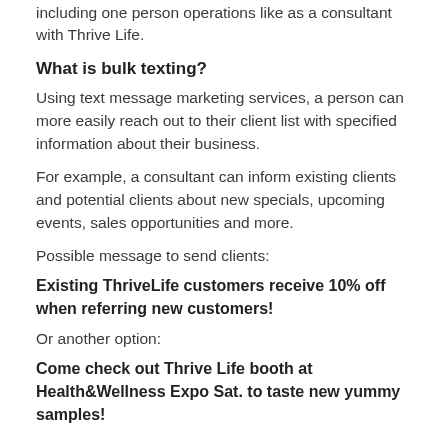including one person operations like as a consultant with Thrive Life.
What is bulk texting?
Using text message marketing services, a person can more easily reach out to their client list with specified information about their business.
For example, a consultant can inform existing clients and potential clients about new specials, upcoming events, sales opportunities and more.
Possible message to send clients:
Existing ThriveLife customers receive 10% off when referring new customers!
Or another option:
Come check out Thrive Life booth at Health&Wellness Expo Sat. to taste new yummy samples!